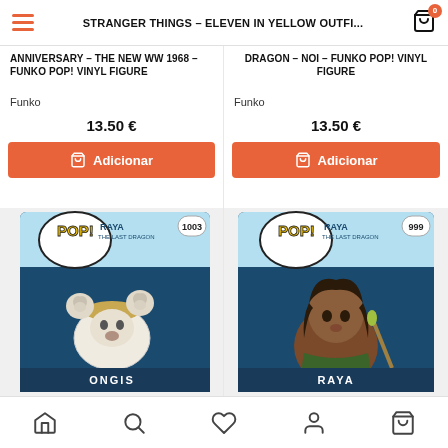STRANGER THINGS – ELEVEN IN YELLOW OUTFI...
ANNIVERSARY – THE NEW WW 1968 – FUNKO POP! VINYL FIGURE
Funko
13.50 €
Adicionar
DRAGON – NOI – FUNKO POP! VINYL FIGURE
Funko
13.50 €
Adicionar
[Figure (photo): Funko Pop Raya and the Last Dragon - Ongis #1003 vinyl figure box]
[Figure (photo): Funko Pop Raya and the Last Dragon - Raya #999 vinyl figure box]